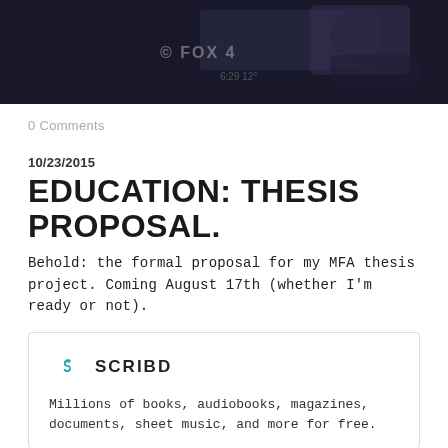[Figure (photo): Dark screenshot from a Fox News broadcast showing hands/desk in background]
0 Comments
10/23/2015
EDUCATION: THESIS PROPOSAL.
Behold: the formal proposal for my MFA thesis project. Coming August 17th (whether I'm ready or not).
[Figure (logo): Scribd logo with teal S icon and SCRIBD wordmark, followed by tagline: Millions of books, audiobooks, magazines, documents, sheet music, and more for free.]